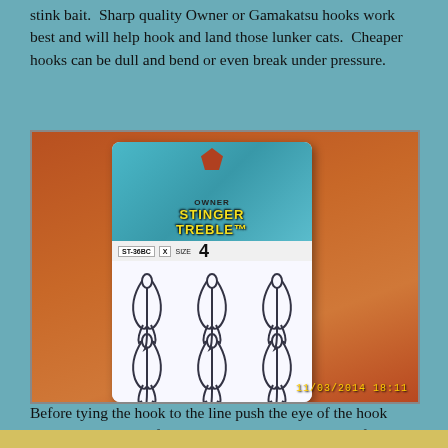stink bait. Sharp quality Owner or Gamakatsu hooks work best and will help hook and land those lunker cats. Cheaper hooks can be dull and bend or even break under pressure.
[Figure (photo): Photograph of a package of Owner Stinger Treble hooks (model ST-36BC, size 4) showing multiple treble hooks in a clear plastic clamshell package. The package has a teal/blue header with 'STINGER TREBLE' text in yellow. The background is an orange-brown surface. Timestamp reads 11/03/2014 18:11.]
Before tying the hook to the line push the eye of the hook through the center of the bait. Then tie it to the end of the line.